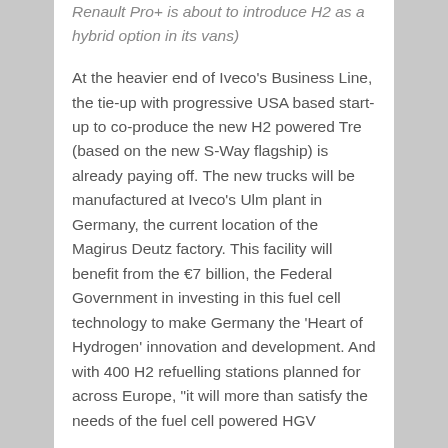Renault Pro+ is about to introduce H2 as a hybrid option in its vans)
At the heavier end of Iveco's Business Line, the tie-up with progressive USA based start-up to co-produce the new H2 powered Tre (based on the new S-Way flagship) is already paying off. The new trucks will be manufactured at Iveco's Ulm plant in Germany, the current location of the Magirus Deutz factory. This facility will benefit from the €7 billion, the Federal Government in investing in this fuel cell technology to make Germany the 'Heart of Hydrogen' innovation and development. And with 400 H2 refuelling stations planned for across Europe, "it will more than satisfy the needs of the fuel cell powered HGV